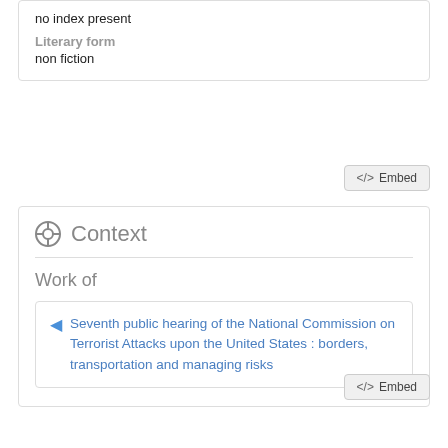no index present
Literary form
non fiction
Context
Work of
Seventh public hearing of the National Commission on Terrorist Attacks upon the United States : borders, transportation and managing risks